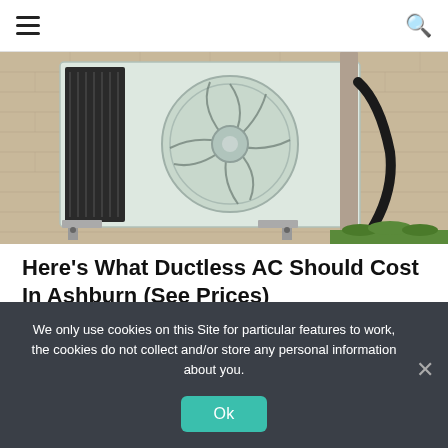Navigation bar with hamburger menu and search icon
[Figure (photo): Outdoor ductless mini-split AC unit mounted on a beige brick wall with refrigerant lines running along the wall. Green grass visible at bottom right.]
Here's What Ductless AC Should Cost In Ashburn (See Prices)
Air Conditioning | Sponsored
We only use cookies on this Site for particular features to work, the cookies do not collect and/or store any personal information about you.